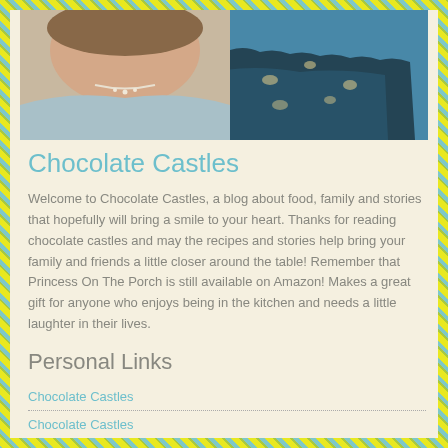[Figure (photo): Photo of two people, a woman with a pearl necklace on the left and a man in a blue patterned shirt on the right, cropped to show their faces and shoulders.]
Chocolate Castles
Welcome to Chocolate Castles, a blog about food, family and stories that hopefully will bring a smile to your heart. Thanks for reading chocolate castles and may the recipes and stories help bring your family and friends a little closer around the table! Remember that Princess On The Porch is still available on Amazon! Makes a great gift for anyone who enjoys being in the kitchen and needs a little laughter in their lives.
Personal Links
Chocolate Castles
Chocolate Castles
http://www.facebook.com
View Full Profile →